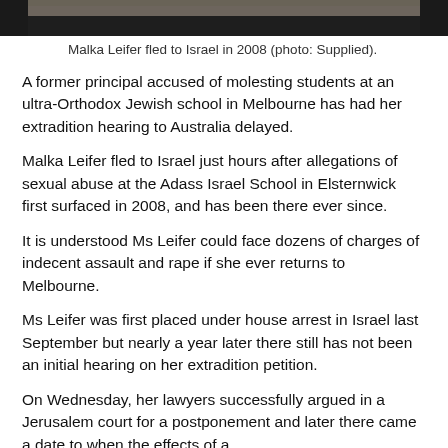[Figure (photo): Top portion of a photograph of Malka Leifer, cropped to show only the lower part of the face/hair area against a light background.]
Malka Leifer fled to Israel in 2008 (photo: Supplied).
A former principal accused of molesting students at an ultra-Orthodox Jewish school in Melbourne has had her extradition hearing to Australia delayed.
Malka Leifer fled to Israel just hours after allegations of sexual abuse at the Adass Israel School in Elsternwick first surfaced in 2008, and has been there ever since.
It is understood Ms Leifer could face dozens of charges of indecent assault and rape if she ever returns to Melbourne.
Ms Leifer was first placed under house arrest in Israel last September but nearly a year later there still has not been an initial hearing on her extradition petition.
On Wednesday, her lawyers successfully argued in a Jerusalem court for a postponement and later there came a date to when the effects of a...